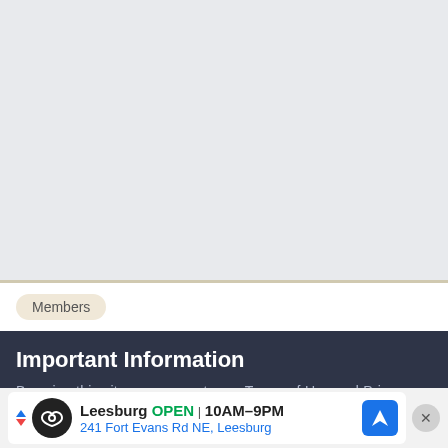[Figure (screenshot): Light gray empty content area representing a webpage background]
Members
Important Information
By using this site, you agree to our Terms of Use and Privacy Policy
[Figure (infographic): Advertisement banner: Leesburg OPEN 10AM–9PM, 241 Fort Evans Rd NE, Leesburg with navigation icon and close button]